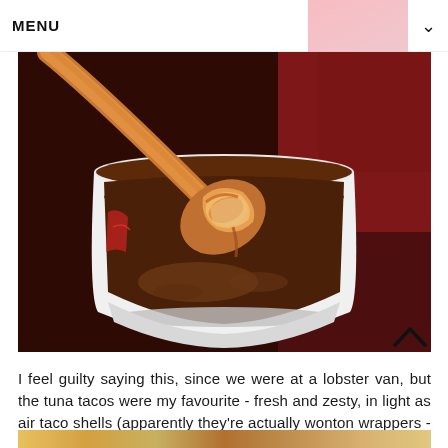MENU
[Figure (photo): A white paper cup filled with dark brown soup or broth, with a wooden spoon lifting a piece of seafood (shrimp/lobster) coated in orange-brown sauce. Background shows red cloth/table setting.]
I feel guilty saying this, since we were at a lobster van, but the tuna tacos were my favourite - fresh and zesty, in light as air taco shells (apparently they're actually wonton wrappers - genius!).
[Figure (photo): Partial view of food at the bottom of the page — appears to show tacos or similar items with colorful toppings.]